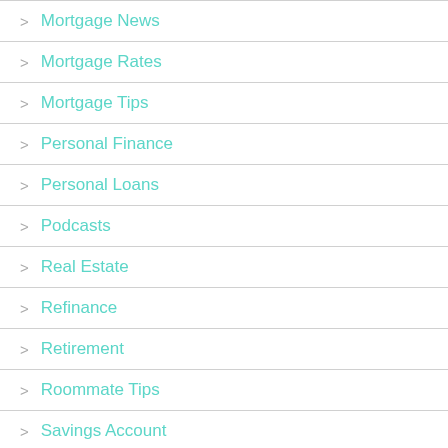Mortgage News
Mortgage Rates
Mortgage Tips
Personal Finance
Personal Loans
Podcasts
Real Estate
Refinance
Retirement
Roommate Tips
Savings Account
Selling A House
Small Business
Spending Money Wisely